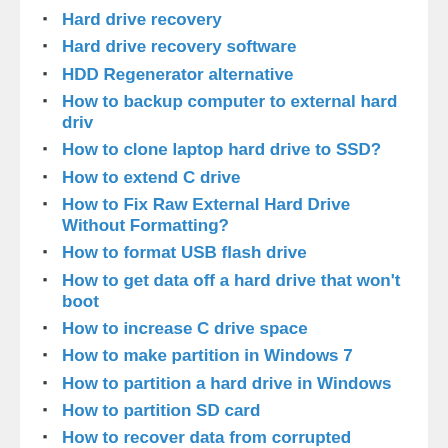Hard drive recovery
Hard drive recovery software
HDD Regenerator alternative
How to backup computer to external hard driv
How to clone laptop hard drive to SSD?
How to extend C drive
How to Fix Raw External Hard Drive Without Formatting?
How to format USB flash drive
How to get data off a hard drive that won't boot
How to increase C drive space
How to make partition in Windows 7
How to partition a hard drive in Windows
How to partition SD card
How to recover data from corrupted memory card without formatting
How to recover data from crashed internal hard disk?
How to recover data from SD card
How to recover deleted files from PC
How to Recover Deleted Files from Pen Drive Free
How to recover deleted Word documents
How to recover files from a flash drive that needs to